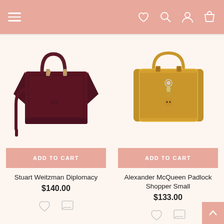Navigation bar with hamburger menu, wishlist, search, account, and cart icons
[Figure (photo): Stuart Weitzman Diplomacy bag in dark burgundy/wine color with structured body and dual top handles]
ADD TO CART
Stuart Weitzman Diplomacy
$140.00
[Figure (photo): Alexander McQueen Padlock Shopper Small bag in mustard yellow with dual top handles and padlock charm]
ADD TO CART
Alexander McQueen Padlock Shopper Small
$133.00